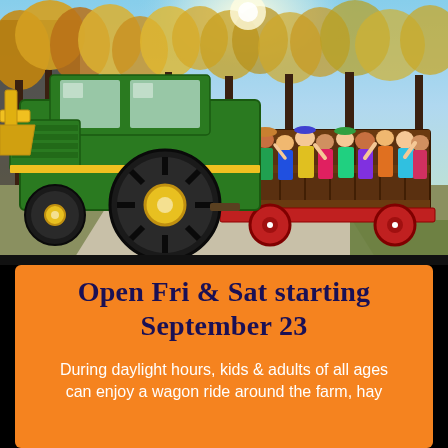[Figure (photo): A green John Deere tractor pulling a large wooden flatbed wagon filled with many people (kids and adults) along a gravel path. Trees with autumn yellow/orange foliage are in the background under a blue sky.]
Open Fri & Sat starting September 23
During daylight hours, kids & adults of all ages can enjoy a wagon ride around the farm, hay